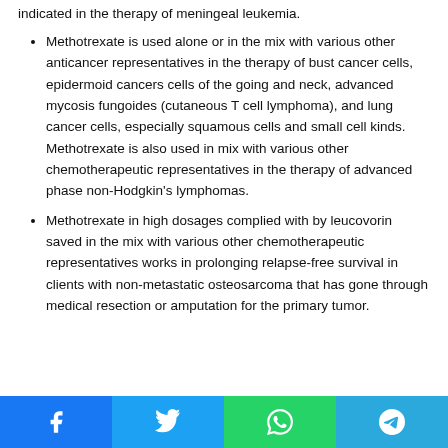Methotrexate is used alone or in the mix with various other anticancer representatives in the therapy of bust cancer cells, epidermoid cancers cells of the going and neck, advanced mycosis fungoides (cutaneous T cell lymphoma), and lung cancer cells, especially squamous cells and small cell kinds. Methotrexate is also used in mix with various other chemotherapeutic representatives in the therapy of advanced phase non-Hodgkin's lymphomas.
Methotrexate in high dosages complied with by leucovorin saved in the mix with various other chemotherapeutic representatives works in prolonging relapse-free survival in clients with non-metastatic osteosarcoma that has gone through medical resection or amputation for the primary tumor.